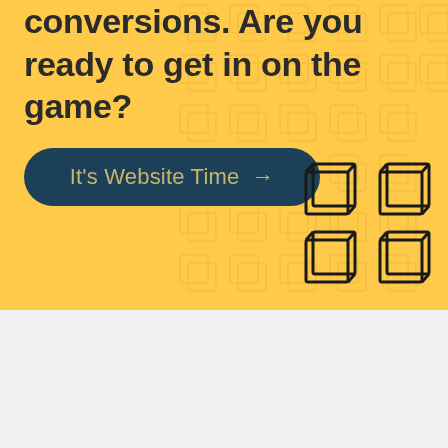conversions. Are you ready to get in on the game?
[Figure (other): CTA button with dark navy background and rounded corners, text: It's Website Time →]
[Figure (illustration): Decorative 2x2 grid of 3D cube/box outline icons in dark color on yellow background]
[Figure (logo): Romega Digital logo with book/cube icon and text 'romega digital' in dark blue]
[Figure (other): Google reCAPTCHA badge showing spinning arrows icon and Privacy · Terms text]